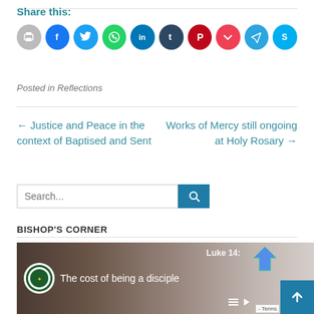Share this:
[Figure (infographic): Row of social share icon circles: print (gray), Facebook (blue), Twitter (cyan), WhatsApp (green), LinkedIn (dark blue), Tumblr (dark navy), Pinterest (red), Pocket (red), Telegram (teal), Skype (light blue)]
Posted in Reflections
← Justice and Peace in the context of Baptised and Sent
Works of Mercy still ongoing at Holy Rosary →
[Figure (other): Search bar with text input field showing placeholder 'Search...' and a teal search button with magnifying glass icon]
BISHOP'S CORNER
[Figure (screenshot): Video thumbnail showing a man's face with a diocesan logo on the left and text 'The cost of being a disciple', with Luke 14 reference visible, and video controls and blue up-arrow button]